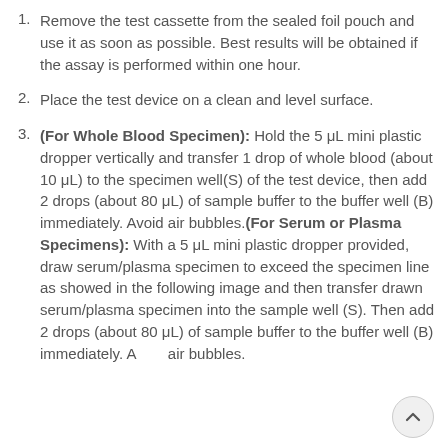Remove the test cassette from the sealed foil pouch and use it as soon as possible. Best results will be obtained if the assay is performed within one hour.
Place the test device on a clean and level surface.
(For Whole Blood Specimen): Hold the 5 μL mini plastic dropper vertically and transfer 1 drop of whole blood (about 10 μL) to the specimen well(S) of the test device, then add 2 drops (about 80 μL) of sample buffer to the buffer well (B) immediately. Avoid air bubbles.(For Serum or Plasma Specimens): With a 5 μL mini plastic dropper provided, draw serum/plasma specimen to exceed the specimen line as showed in the following image and then transfer drawn serum/plasma specimen into the sample well (S). Then add 2 drops (about 80 μL) of sample buffer to the buffer well (B) immediately. Avoid air bubbles.